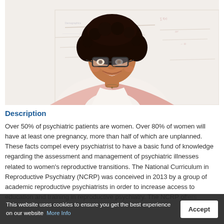[Figure (photo): A smiling woman with curly dark hair and glasses, wearing a pink cardigan over a white blouse, standing in front of a whiteboard with writing on it.]
Description
Over 50% of psychiatric patients are women. Over 80% of women will have at least one pregnancy, more than half of which are unplanned. These facts compel every psychiatrist to have a basic fund of knowledge regarding the assessment and management of psychiatric illnesses related to women's reproductive transitions. The National Curriculum in Reproductive Psychiatry (NCRP) was conceived in 2013 by a group of academic reproductive psychiatrists in order to increase access to education and training in reproductive psychiatry. The NCRP offers a free interactive online curriculum that can be used by
This website uses cookies to ensure you get the best experience on our website   More Info